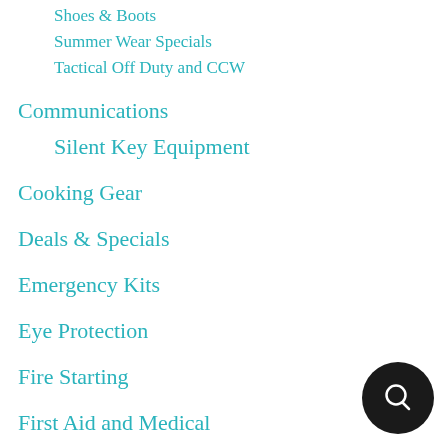Shoes & Boots
Summer Wear Specials
Tactical Off Duty and CCW
Communications
Silent Key Equipment
Cooking Gear
Deals & Specials
Emergency Kits
Eye Protection
Fire Starting
First Aid and Medical
Flashlights Lanterns and Strobes
[Figure (illustration): Black circular chat/search button icon at bottom right corner]